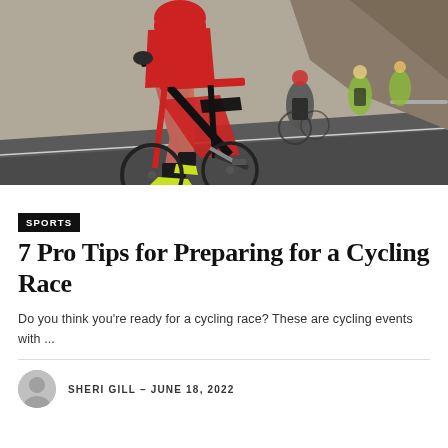[Figure (photo): Cyclists racing on a road, close-up of legs and bicycles with a group of riders in the background on a mountain road.]
SPORTS
7 Pro Tips for Preparing for a Cycling Race
Do you think you're ready for a cycling race? These are cycling events with ...
SHERI GILL – JUNE 18, 2022